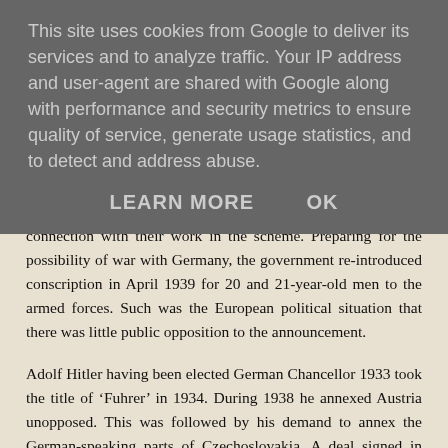This site uses cookies from Google to deliver its services and to analyze traffic. Your IP address and user-agent are shared with Google along with performance and security metrics to ensure quality of service, generate usage statistics, and to detect and address abuse.
LEARN MORE   OK
broaches to these early ARP volunteers took place in connection with their work in the scheme. Preparing for the possibility of war with Germany, the government re-introduced conscription in April 1939 for 20 and 21-year-old men to the armed forces. Such was the European political situation that there was little public opposition to the announcement.
Adolf Hitler having been elected German Chancellor 1933 took the title of ‘Fuhrer’ in 1934. During 1938 he annexed Austria unopposed. This was followed by his demand to annex the German-speaking parts of Czechoslovakia. A deal signed in Munich September 1938 with the British Prime Minister, Neville Chamberlain, gave in to Hitler. On landing at Heston Airport Chamberlain made great play of the deal